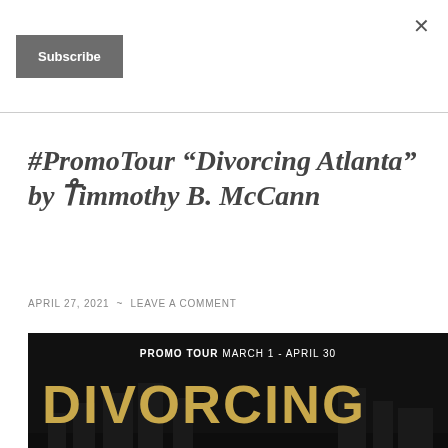Subscribe
#PromoTour “Divorcing Atlanta” by Timmothy B. McCann
APRIL 27, 2021 ~ LEAVE A COMMENT
[Figure (illustration): Promo Tour banner for 'Divorcing Atlanta' by Timmothy B. McCann, showing the book title in large gold letters on a dark background with city imagery. Text reads: PROMO TOUR MARCH 1 - APRIL 30, DIVORCING ATLANTA, TIMMOTHY B. MCCANN.]